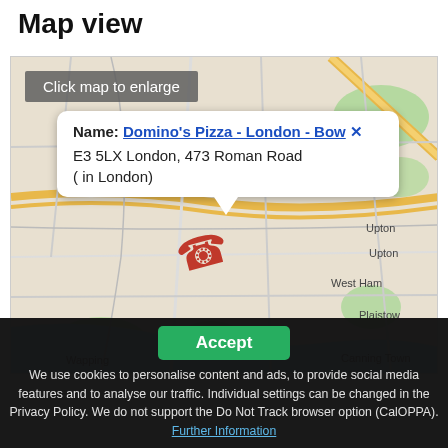Map view
[Figure (map): Map view of London area showing Domino's Pizza - London - Bow location. Map shows areas including Upton, West Ham, Plaistow, Canning Town, Blackwall, Wapping. A popup bubble shows: Name: Domino's Pizza - London - Bow, E3 5LX London, 473 Roman Road (in London). A gray overlay button says 'Click map to enlarge'. A red phone icon is visible on the map.]
Click map to enlarge
Name: Domino's Pizza - London - Bow
E3 5LX London, 473 Roman Road
( in London)
Accept
We use cookies to personalise content and ads, to provide social media features and to analyse our traffic. Individual settings can be changed in the Privacy Policy. We do not support the Do Not Track browser option (CalOPPA). Further Information